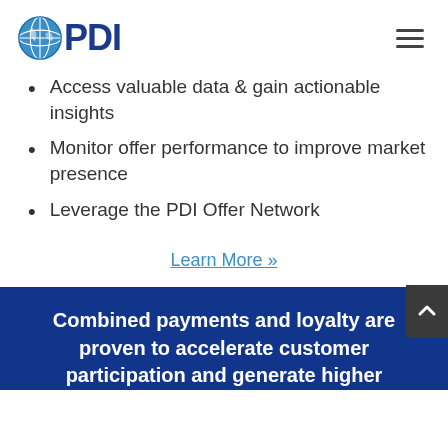PDI logo and navigation
Access valuable data & gain actionable insights
Monitor offer performance to improve market presence
Leverage the PDI Offer Network
Learn More »
Combined payments and loyalty are proven to accelerate customer participation and generate higher